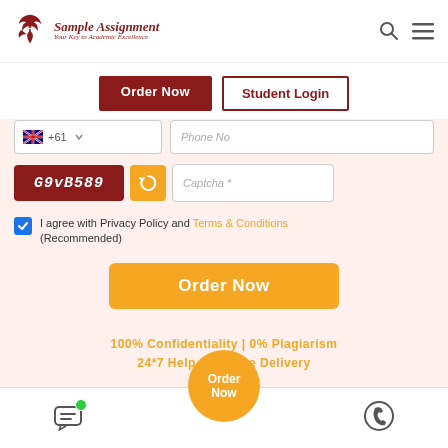[Figure (logo): Sample Assignment logo with phoenix bird icon and tagline 'Your Key to Academic Excellence']
[Figure (screenshot): Search and hamburger menu icons in header]
Order Now
Student Login
+61 | Phone No
G9vB589 | Captcha *
I agree with Privacy Policy and Terms & Conditions (Recommended)
Order Now
100% Confidentiality | 0% Plagiarism 24*7 Help | On-time Delivery
Need Help?
Order Now
[Figure (screenshot): Chat and WhatsApp icons in bottom navigation bar]